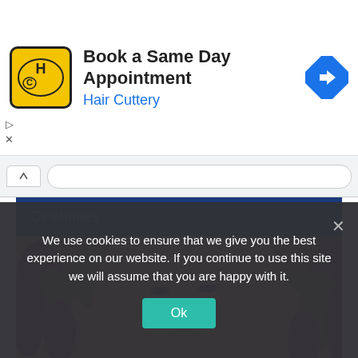[Figure (infographic): Hair Cuttery advertisement banner with HC logo, 'Book a Same Day Appointment' text, 'Hair Cuttery' subtitle in blue, and a blue navigation arrow icon on the right]
[Figure (photo): A woman with curly hair looking down, cropped to show head and shoulders, on a website section labeled Celebrities]
Celebrities
We use cookies to ensure that we give you the best experience on our website. If you continue to use this site we will assume that you are happy with it.